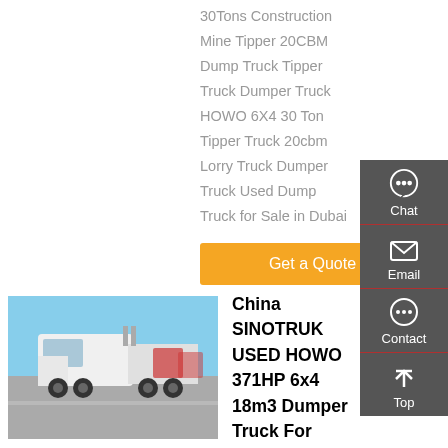30Tons Construction Mine Tipper 20CBM Dump Truck Tipper Truck Dumper Truck HOWO 6X4 30 Ton Tipper Truck 20cbm Lorry Truck Dumper Truck Used Dump Truck for Sale in Dubai
Get a Quote
[Figure (photo): White SINOTRUK HOWO heavy truck parked in a lot with blue sky background and other red trucks visible behind]
China SINOTRUK USED HOWO 371HP 6x4 18m3 Dumper Truck For Sale On Global Sources,Used SINOTRUK HOWO